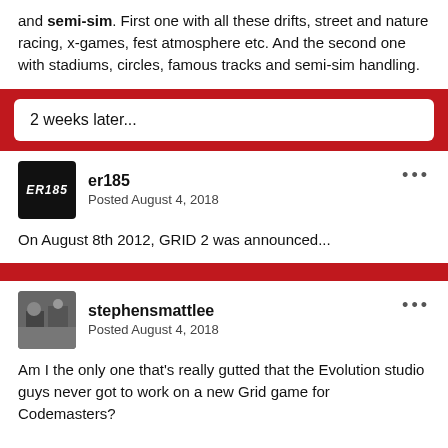and semi-sim. First one with all these drifts, street and nature racing, x-games, fest atmosphere etc. And the second one with stadiums, circles, famous tracks and semi-sim handling.
2 weeks later...
er185
Posted August 4, 2018
On August 8th 2012, GRID 2 was announced...
stephensmattlee
Posted August 4, 2018
Am I the only one that's really gutted that the Evolution studio guys never got to work on a new Grid game for Codemasters?